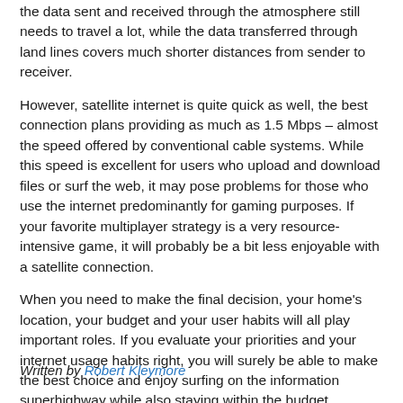the data sent and received through the atmosphere still needs to travel a lot, while the data transferred through land lines covers much shorter distances from sender to receiver.
However, satellite internet is quite quick as well, the best connection plans providing as much as 1.5 Mbps – almost the speed offered by conventional cable systems. While this speed is excellent for users who upload and download files or surf the web, it may pose problems for those who use the internet predominantly for gaming purposes. If your favorite multiplayer strategy is a very resource-intensive game, it will probably be a bit less enjoyable with a satellite connection.
When you need to make the final decision, your home's location, your budget and your user habits will all play important roles. If you evaluate your priorities and your internet usage habits right, you will surely be able to make the best choice and enjoy surfing on the information superhighway while also staying within the budget.
Written by Robert Kleymore